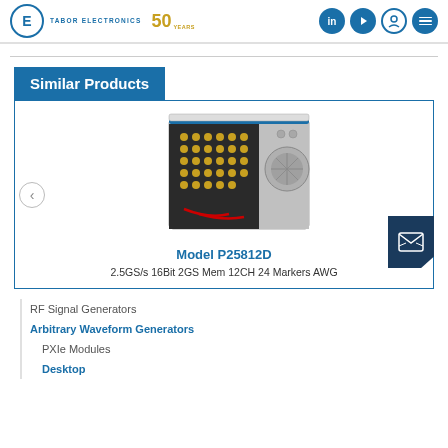Tabor Electronics 50 Years
Similar Products
[Figure (photo): Tabor Electronics Model P25812D AWG unit — a desktop instrument with multiple gold SMA connectors on front panel and ventilation fans on side, white and blue chassis.]
Model P25812D
2.5GS/s 16Bit 2GS Mem 12CH 24 Markers AWG
RF Signal Generators
Arbitrary Waveform Generators
PXIe Modules
Desktop